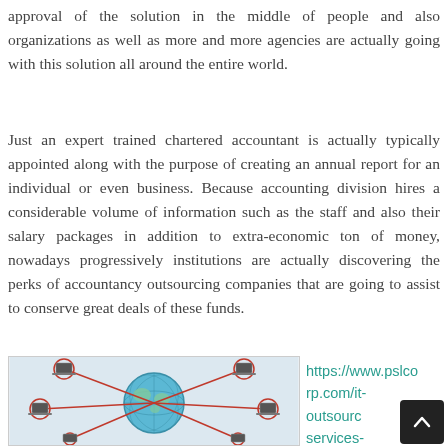approval of the solution in the middle of people and also organizations as well as more and more agencies are actually going with this solution all around the entire world.
Just an expert trained chartered accountant is actually typically appointed along with the purpose of creating an annual report for an individual or even business. Because accounting division hires a considerable volume of information such as the staff and also their salary packages in addition to extra-economic ton of money, nowadays progressively institutions are actually discovering the perks of accountancy outsourcing companies that are going to assist to conserve great deals of these funds.
[Figure (illustration): Illustration of laptops/computers connected to a globe with red lines, representing IT outsourcing or global network connectivity.]
https://www.pslcorp.com/it-outsourcing-services-